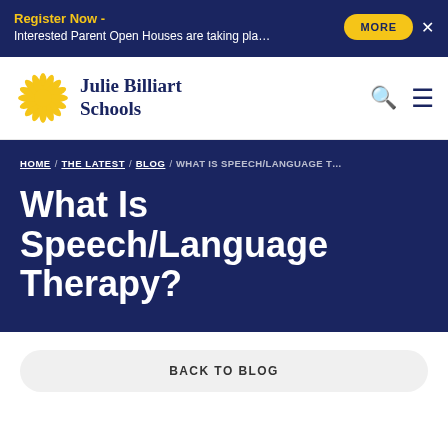Register Now - Interested Parent Open Houses are taking pla…
[Figure (logo): Julie Billiart Schools sunflower logo with school name]
HOME / THE LATEST / BLOG / WHAT IS SPEECH/LANGUAGE T…
What Is Speech/Language Therapy?
BACK TO BLOG